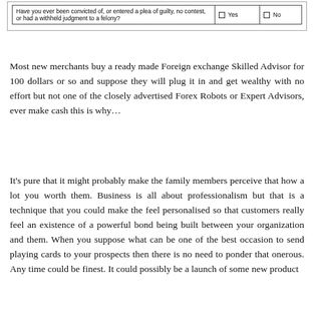|  | Yes | No |
| --- | --- | --- |
| Have you ever been convicted of, or entered a plea of guilty, no contest, or had a withheld judgment to a felony? | ☐ Yes | ☐ No |
Most new merchants buy a ready made Foreign exchange Skilled Advisor for 100 dollars or so and suppose they will plug it in and get wealthy with no effort but not one of the closely advertised Forex Robots or Expert Advisors, ever make cash this is why…
It's pure that it might probably make the family members perceive that how a lot you worth them. Business is all about professionalism but that is a technique that you could make the feel personalised so that customers really feel an existence of a powerful bond being built between your organization and them. When you suppose what can be one of the best occasion to send playing cards to your prospects then there is no need to ponder that onerous. Any time could be finest. It could possibly be a launch of some new product